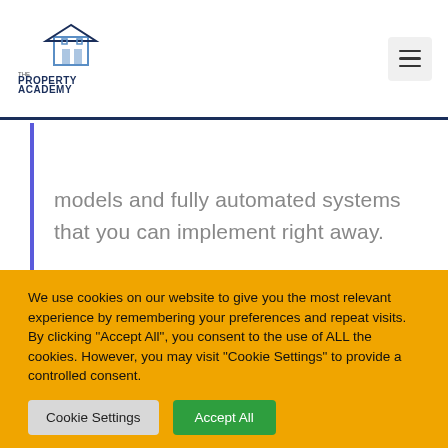The Property Academy
models and fully automated systems that you can implement right away.
INSTALMENT SALE AGREEMENT
We use cookies on our website to give you the most relevant experience by remembering your preferences and repeat visits. By clicking "Accept All", you consent to the use of ALL the cookies. However, you may visit "Cookie Settings" to provide a controlled consent.
Cookie Settings | Accept All